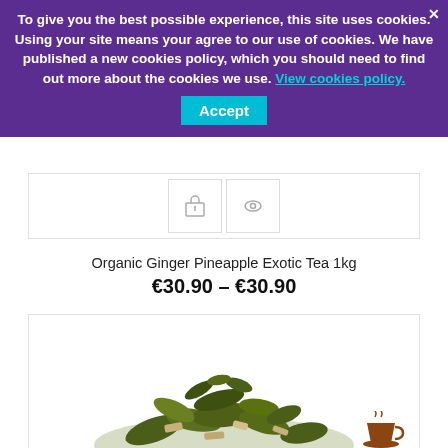To give you the best possible experience, this site uses cookies. Using your site means your agree to our use of cookies. We have published a new cookies policy, which you should need to find out more about the cookies we use. View cookies policy.
Accept
[Figure (screenshot): Shopping cart and eye icon buttons at bottom of a product card]
Organic Ginger Pineapple Exotic Tea 1kg
€30.90 – €30.90
[Figure (photo): Photo of loose leaf organic ginger pineapple exotic tea showing green tea leaves with ginger pieces]